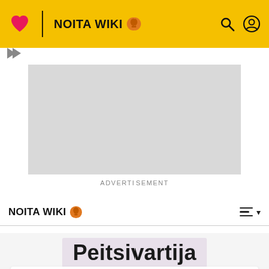NOITA WIKI
[Figure (screenshot): Grey advertisement placeholder rectangle]
ADVERTISEMENT
NOITA WIKI
Peitsivartija
EDIT
Peitsivartija